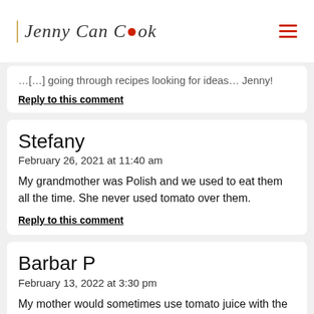Jenny Can Cook
Jenny!
Reply to this comment
Stefany
February 26, 2021 at 11:40 am
My grandmother was Polish and we used to eat them all the time. She never used tomato over them.
Reply to this comment
Barbar P
February 13, 2022 at 3:30 pm
My mother would sometimes use tomato juice with the crushed plumb tomatoes. Also she cooked them stove top